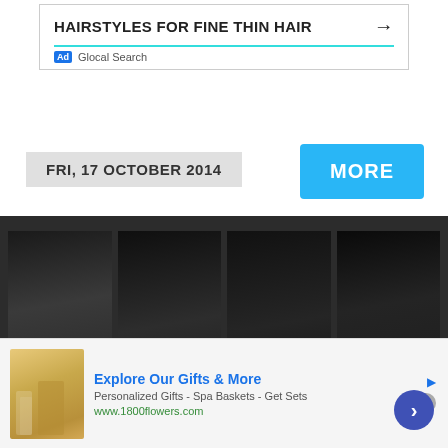[Figure (screenshot): Advertisement banner for hairstyles with text HAIRSTYLES FOR FINE THIN HAIR and arrow, labeled Ad / Glocal Search]
FRI, 17 OCTOBER 2014
MORE
[Figure (photo): Four paparazzi photos of Juno Temple in a red sweater/jacket at night]
Juno Temple rocks a red sweate…
[Figure (screenshot): Advertisement for 1800flowers: Explore Our Gifts & More, Personalized Gifts - Spa Baskets - Get Sets, www.1800flowers.com]